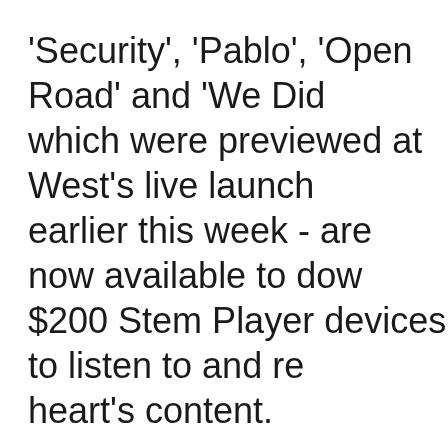'Security', 'Pablo', 'Open Road' and 'We Did which were previewed at West's live launch earlier this week - are now available to dow $200 Stem Player devices to listen to and r heart's content.
West announced the arrival of the four track deleted tweet last night. He gave no indicat the rest would arrive - the full album having (by people with short memories) as soon as event finished on Tuesday.
Last week, West said that the new record w available via streaming services, but would made available exclusively through the Ste